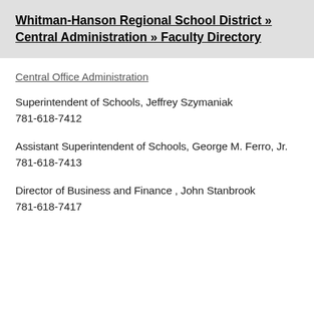Whitman-Hanson Regional School District » Central Administration » Faculty Directory
Central Office Administration
Superintendent of Schools, Jeffrey Szymaniak
781-618-7412
Assistant Superintendent of Schools, George M. Ferro, Jr.
781-618-7413
Director of Business and Finance , John Stanbrook
781-618-7417